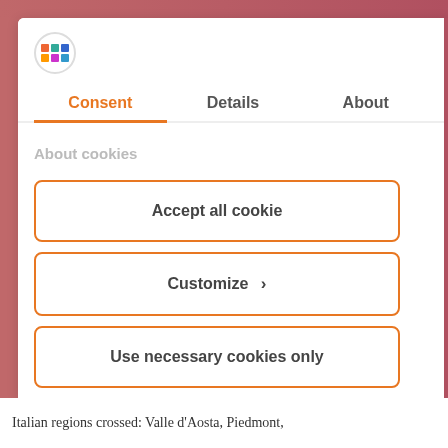[Figure (logo): Colorful logo icon inside a circle]
Consent | Details | About
About cookies
Accept all cookie
Customize ›
Use necessary cookies only
Powered by Cookiebot by Usercentrics
Italian regions crossed: Valle d'Aosta, Piedmont,